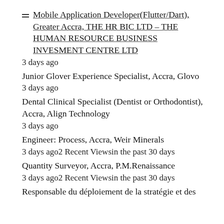Mobile Application Developer(Flutter/Dart), Greater Accra, THE HR BIC LTD – THE HUMAN RESOURCE BUSINESS INVESMENT CENTRE LTD
3 days ago
Junior Glover Experience Specialist, Accra, Glovo
3 days ago
Dental Clinical Specialist (Dentist or Orthodontist), Accra, Align Technology
3 days ago
Engineer: Process, Accra, Weir Minerals
3 days ago2 Recent Viewsin the past 30 days
Quantity Surveyor, Accra, P.M.Renaissance
3 days ago2 Recent Viewsin the past 30 days
Responsable du déploiement de la stratégie et des